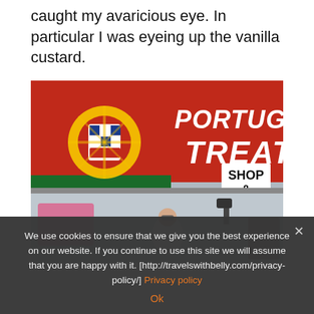caught my avaricious eye. In particular I was eyeing up the vanilla custard.
[Figure (photo): A red banner reading 'PORTUGUESE TREATS' with the Portuguese coat of arms on the left. A white sign reads 'SHOP & GO'. Below the banner, a market stall is visible with a person in a white shirt and sunglasses.]
We use cookies to ensure that we give you the best experience on our website. If you continue to use this site we will assume that you are happy with it. [http://travelswithbelly.com/privacy-policy/] Privacy policy
Ok